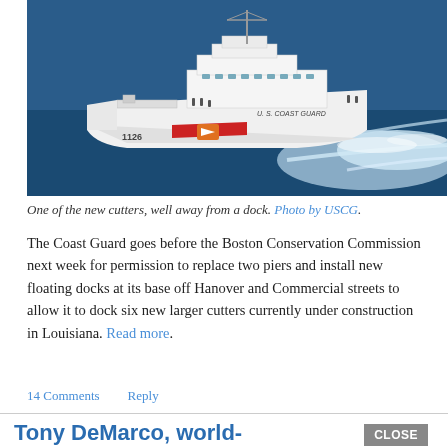[Figure (photo): Aerial view of a U.S. Coast Guard cutter vessel numbered 1126 underway on blue water, showing white wake, with crew visible on deck.]
One of the new cutters, well away from a dock. Photo by USCG.
The Coast Guard goes before the Boston Conservation Commission next week for permission to replace two piers and install new floating docks at its base off Hanover and Commercial streets to allow it to dock six new larger cutters currently under construction in Louisiana. Read more.
14 Comments   Reply
Tony DeMarco, world-champion North End boxer, with his own statue